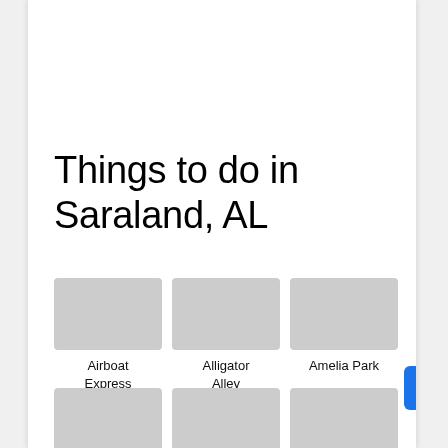Things to do in Saraland, AL
[Figure (photo): Airboat Express - photo of a calm water body at sunset]
Airboat Express
[Figure (photo): Alligator Alley - photo of an alligator being held outdoors]
Alligator Alley
[Figure (photo): Amelia Park - photo of people in a wooded park setting]
Amelia Park
[Figure (photo): Art Fusion Tattoo Gallery - interior photo of a tattoo shop with red decor]
Art Fusion Tattoo Gallery
[Figure (photo): Barnyard Buffet - photo of food on a buffet tray]
Barnyard Buffet
[Figure (photo): Bienville Bites Food Tour - group photo of people near a sign]
Bienville Bites Food Tour